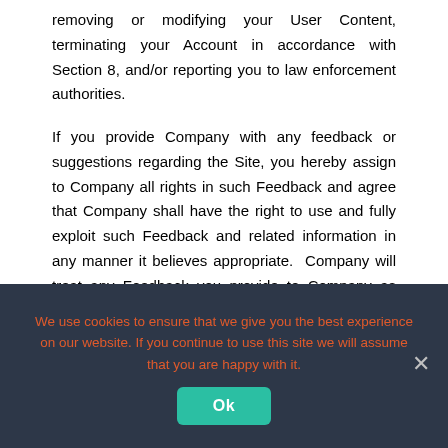removing or modifying your User Content, terminating your Account in accordance with Section 8, and/or reporting you to law enforcement authorities.
If you provide Company with any feedback or suggestions regarding the Site, you hereby assign to Company all rights in such Feedback and agree that Company shall have the right to use and fully exploit such Feedback and related information in any manner it believes appropriate.  Company will treat any Feedback you provide to Company as non-confidential and non-proprietary.
You agree to indemnify and hold Company and its
We use cookies to ensure that we give you the best experience on our website. If you continue to use this site we will assume that you are happy with it.